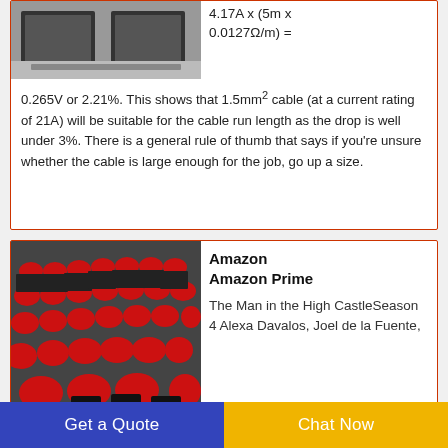[Figure (photo): Photo of black and white electronic/display unit boxes/panels on a floor]
4.17A x (5m x 0.0127Ω/m) = 0.265V or 2.21%. This shows that 1.5mm² cable (at a current rating of 21A) will be suitable for the cable run length as the drop is well under 3%. There is a general rule of thumb that says if you're unsure whether the cable is large enough for the job, go up a size.
[Figure (photo): Photo of rows of red and black theater/auditorium seats in a factory or warehouse setting]
Amazon Amazon Prime
The Man in the High CastleSeason 4 Alexa Davalos, Joel de la Fuente,
Get a Quote
Chat Now